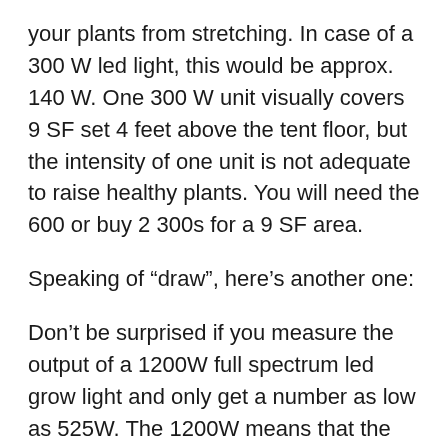your plants from stretching. In case of a 300 W led light, this would be approx. 140 W. One 300 W unit visually covers 9 SF set 4 feet above the tent floor, but the intensity of one unit is not adequate to raise healthy plants. You will need the 600 or buy 2 300s for a 9 SF area.
Speaking of “draw”, here’s another one:
Don’t be surprised if you measure the output of a 1200W full spectrum led grow light and only get a number as low as 525W. The 1200W means that the lamp is built up of 240 5W led lights, totaling 1200W mathematically. In the same way, a 300W light is labeled as such when it consists of for example 100 3W lights. These numbers do not